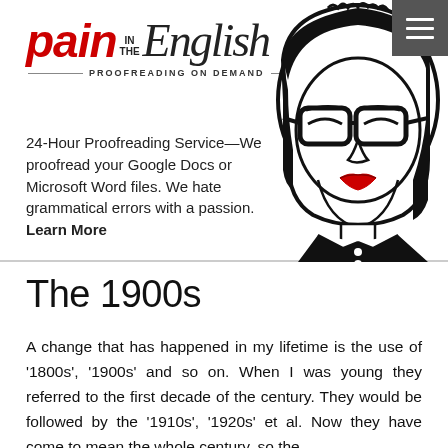[Figure (logo): Pain in the English logo with gothic 'English' lettering, red 'pain' text, and tagline 'PROOFREADING ON DEMAND']
[Figure (illustration): Cartoon illustration of a stern-looking woman with a bob haircut, thick-rimmed glasses, red lips, and a black blazer with buttons. A hamburger menu icon appears in the top-right corner.]
24-Hour Proofreading Service—We proofread your Google Docs or Microsoft Word files. We hate grammatical errors with a passion. Learn More
The 1900s
A change that has happened in my lifetime is the use of '1800s', '1900s' and so on. When I was young they referred to the first decade of the century. They would be followed by the '1910s', '1920s' et al. Now they have come to mean the whole century, so the